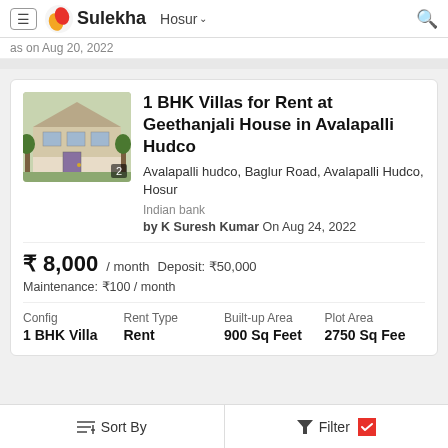Sulekha  Hosur
as on Aug 20, 2022
1 BHK Villas for Rent at Geethanjali House in Avalapalli Hudco
Avalapalli hudco, Baglur Road, Avalapalli Hudco, Hosur
Indian bank
by K Suresh Kumar On Aug 24, 2022
₹ 8,000 / month   Deposit: ₹50,000
Maintenance: ₹100 / month
| Config | Rent Type | Built-up Area | Plot Area |
| --- | --- | --- | --- |
| 1 BHK Villa | Rent | 900 Sq Feet | 2750 Sq Fee |
Sort By    Filter